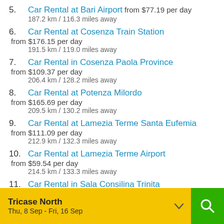5. Car Rental at Bari Airport from $77.19 per day
187.2 km / 116.3 miles away
6. Car Rental at Cosenza Train Station from $176.15 per day
191.5 km / 119.0 miles away
7. Car Rental in Cosenza Paola Province from $109.37 per day
206.4 km / 128.2 miles away
8. Car Rental at Potenza Milordo from $165.69 per day
209.5 km / 130.2 miles away
9. Car Rental at Lamezia Terme Santa Eufemia from $111.09 per day
212.9 km / 132.3 miles away
10. Car Rental at Lamezia Terme Airport from $59.54 per day
214.5 km / 133.3 miles away
11. Car Rental in Sala Consilina Trinita from $126.93 per day
236.4 km / 146.9 miles away
12. Car Rental at Foggia Train Station from $149.04 per day
Tricase North
Thu, 8 Sep - Fri, 16 Sep